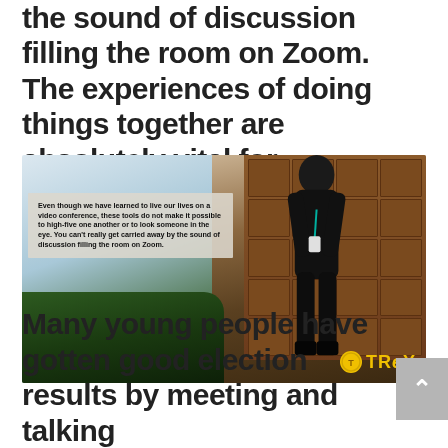the sound of discussion filling the room on Zoom. The experiences of doing things together are absolutely vital for campaigning.
[Figure (photo): A young woman in all-black clothing smiling and standing in front of a wooden cabinet with drawers. There is a quote overlay box on the left side of the image. The TREY logo appears in the bottom right corner. Plants are visible in the lower left.]
Even though we have learned to live our lives on a video conference, these tools do not make it possible to high-five one another or to look someone in the eye. You can't really get carried away by the sound of discussion filling the room on Zoom.
Many young people have gotten good election results by meeting and talking